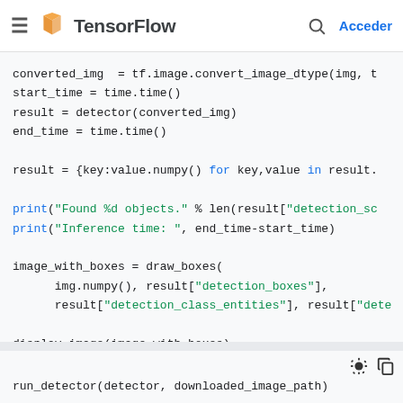TensorFlow — Acceder
[Figure (screenshot): TensorFlow website header with hamburger menu, TensorFlow logo (orange), search icon, and Acceder button in blue]
converted_img  = tf.image.convert_image_dtype(img, t
start_time = time.time()
result = detector(converted_img)
end_time = time.time()

result = {key:value.numpy() for key,value in result.

print("Found %d objects." % len(result["detection_sc
print("Inference time: ", end_time-start_time)

image_with_boxes = draw_boxes(
      img.numpy(), result["detection_boxes"],
      result["detection_class_entities"], result["dete

display_image(image_with_boxes)
run_detector(detector, downloaded_image_path)